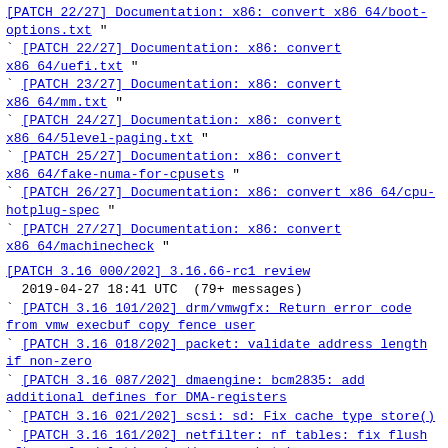` [PATCH 22/27] Documentation: x86: convert x86_64/boot-options.txt "
` [PATCH 22/27] Documentation: x86: convert x86_64/uefi.txt "
` [PATCH 23/27] Documentation: x86: convert x86_64/mm.txt "
` [PATCH 24/27] Documentation: x86: convert x86_64/5level-paging.txt "
` [PATCH 25/27] Documentation: x86: convert x86_64/fake-numa-for-cpusets "
` [PATCH 26/27] Documentation: x86: convert x86_64/cpu-hotplug-spec "
` [PATCH 27/27] Documentation: x86: convert x86_64/machinecheck "
[PATCH 3.16 000/202] 3.16.66-rc1 review
2019-04-27 18:41 UTC  (79+ messages)
` [PATCH 3.16 101/202] drm/vmwgfx: Return error code from vmw_execbuf_copy_fence_user
` [PATCH 3.16 018/202] packet: validate address length if non-zero
` [PATCH 3.16 087/202] dmaengine: bcm2835: add additional defines for DMA-registers
` [PATCH 3.16 021/202] scsi: sd: Fix cache type store()
` [PATCH 3.16 161/202] netfilter: nf_tables: fix flush after rule deletion in the same batch
` [PATCH 3.16 032/202] cifs: Fix potential OOB access of lock element array
` [PATCH 3.16 183/202] net: netem: fix skb length BUG_ON in __skb_to_sgvec
` [PATCH 3.16 007/202] ALSA: usb-audio: Always check